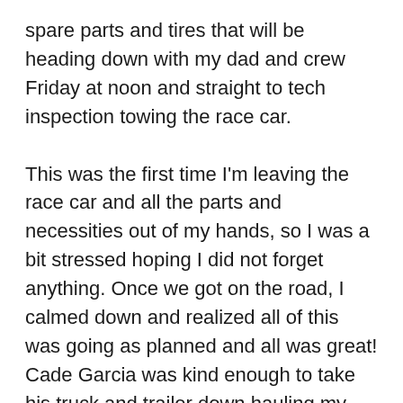spare parts and tires that will be heading down with my dad and crew Friday at noon and straight to tech inspection towing the race car.
This was the first time I'm leaving the race car and all the parts and necessities out of my hands, so I was a bit stressed hoping I did not forget anything. Once we got on the road, I calmed down and realized all of this was going as planned and all was great! Cade Garcia was kind enough to take his truck and trailer down hauling my prerunner as well as his Class 5 race car to follow us down the racecourse. We had Nick on board for this prerun as well as Shane and Scott again down for round two of